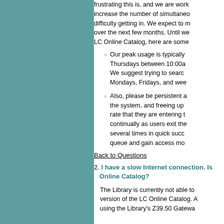frustrating this is, and we are working to increase the number of simultaneous users to reduce difficulty getting in. We expect to make progress over the next few months. Until we resolve this, LC Online Catalog, here are some
Our peak usage is typically Thursdays between 10:00a We suggest trying to search Mondays, Fridays, and wee
Also, please be persistent the system, and freeing up rate that they are entering continually as users exit the several times in quick succ queue and gain access mo
Back to Questions
2. I have a slow Internet connection. Is Online Catalog?
The Library is currently not able to version of the LC Online Catalog. A using the Library's Z39.50 Gateway